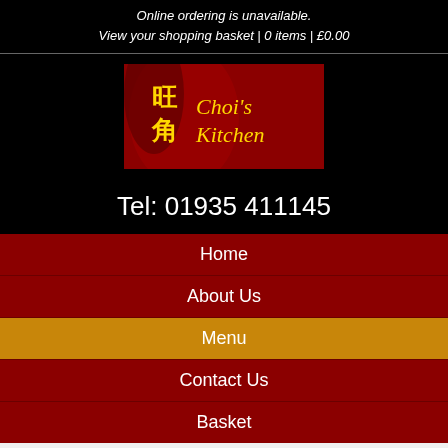Online ordering is unavailable.
View your shopping basket | 0 items | £0.00
[Figure (logo): Choi's Kitchen restaurant logo with Chinese characters and decorative red background]
Tel: 01935 411145
Home
About Us
Menu
Contact Us
Basket
Action failed. Please refresh the page and retry.